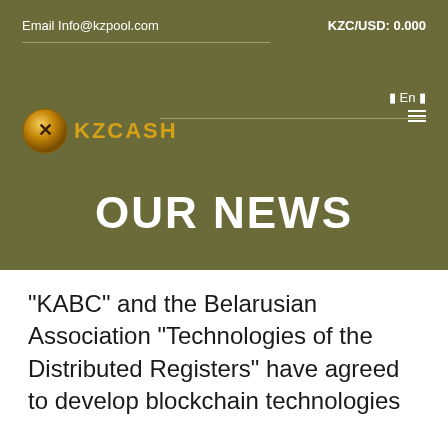Email Info@kzpool.com
KZC/USD: 0.000
[Figure (logo): KZCASH logo with golden coin icon and KZCASH text in gold]
⬛ En ⬛
OUR NEWS
"KABC" and the Belarusian Association "Technologies of the Distributed Registers" have agreed to develop blockchain technologies